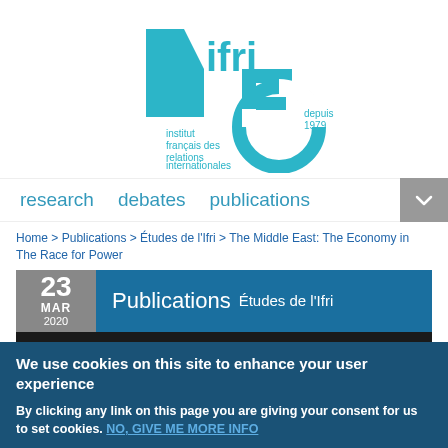[Figure (logo): Ifri 45th anniversary logo — teal '4' and '5' numerals with circular ring, text 'institut français des relations internationales' and 'depuis 1979']
research   debates   publications
Home > Publications > Études de l'Ifri > The Middle East: The Economy in The Race for Power
23 MAR 2020   Publications  Études de l'Ifri
We use cookies on this site to enhance your user experience
By clicking any link on this page you are giving your consent for us to set cookies. NO, GIVE ME MORE INFO
OK, I AGREE   NO, THANKS